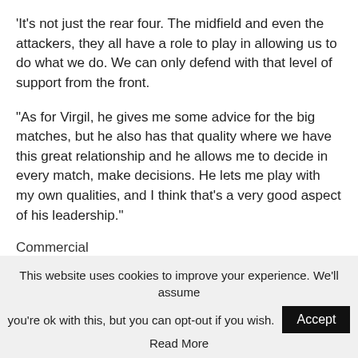'It's not just the rear four. The midfield and even the attackers, they all have a role to play in allowing us to do what we do. We can only defend with that level of support from the front.
“As for Virgil, he gives me some advice for the big matches, but he also has that quality where we have this great relationship and he allows me to decide in every match, make decisions. He lets me play with my own qualities, and I think that’s a very good aspect of his leadership.”
Commercial
Share or
This website uses cookies to improve your experience. We’ll assume you’re ok with this, but you can opt-out if you wish.
Accept
Read More